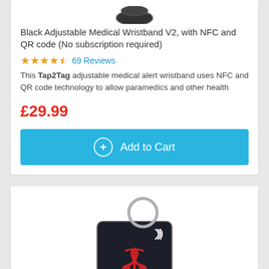[Figure (photo): Partial view of a black adjustable medical wristband product image at the top, cropped]
Black Adjustable Medical Wristband V2, with NFC and QR code (No subscription required)
★★★★☆ 69 Reviews
This Tap2Tag adjustable medical alert wristband uses NFC and QR code technology to allow paramedics and other health
£29.99
Add to Cart
[Figure (photo): A black NFC medical emergency key fob tag with a keyring loop, showing an NFC signal icon, a red medical caduceus symbol, the 'tap2tag' brand name, and a blue 'EMERGENCY' bar at the bottom]